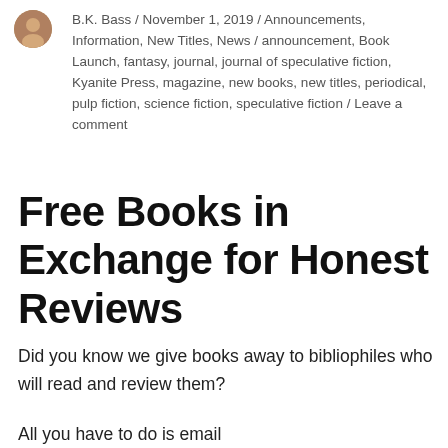B.K. Bass / November 1, 2019 / Announcements, Information, New Titles, News / announcement, Book Launch, fantasy, journal, journal of speculative fiction, Kyanite Press, magazine, new books, new titles, periodical, pulp fiction, science fiction, speculative fiction / Leave a comment
Free Books in Exchange for Honest Reviews
Did you know we give books away to bibliophiles who will read and review them?
All you have to do is email sam@kyanitepublishing.com with your selections and you'll be one step closer to fantastical book